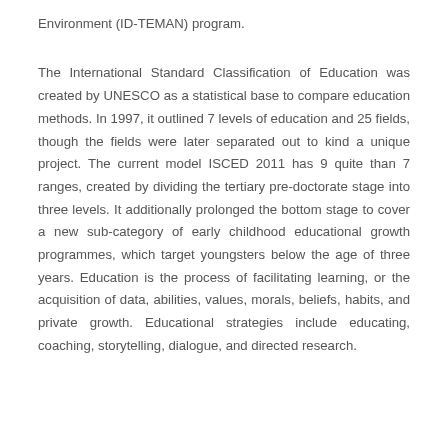Environment (ID-TEMAN) program.
The International Standard Classification of Education was created by UNESCO as a statistical base to compare education methods. In 1997, it outlined 7 levels of education and 25 fields, though the fields were later separated out to kind a unique project. The current model ISCED 2011 has 9 quite than 7 ranges, created by dividing the tertiary pre-doctorate stage into three levels. It additionally prolonged the bottom stage to cover a new sub-category of early childhood educational growth programmes, which target youngsters below the age of three years. Education is the process of facilitating learning, or the acquisition of data, abilities, values, morals, beliefs, habits, and private growth. Educational strategies include educating, coaching, storytelling, dialogue, and directed research.